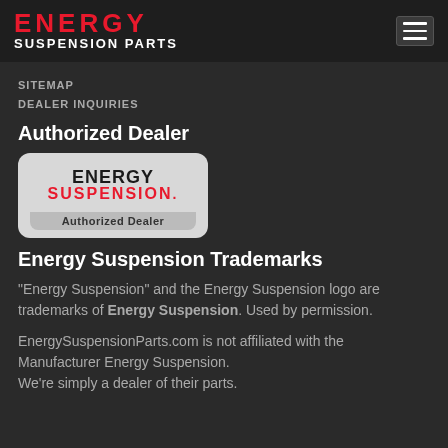ENERGY SUSPENSION PARTS
SITEMAP
DEALER INQUIRIES
Authorized Dealer
[Figure (logo): Energy Suspension Authorized Dealer badge — rounded rectangle with ENERGY SUSPENSION. text and Authorized Dealer label]
Energy Suspension Trademarks
"Energy Suspension" and the Energy Suspension logo are trademarks of Energy Suspension. Used by permission.
EnergySuspensionParts.com is not affiliated with the Manufacturer Energy Suspension.
We're simply a dealer of their parts.